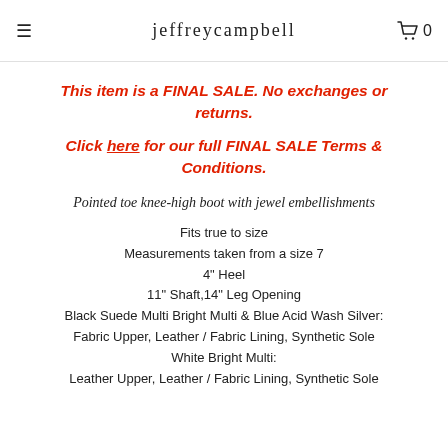jeffreycampbell
This item is a FINAL SALE. No exchanges or returns.
Click here for our full FINAL SALE Terms & Conditions.
Pointed toe knee-high boot with jewel embellishments
Fits true to size
Measurements taken from a size 7
4" Heel
11" Shaft,14" Leg Opening
Black Suede Multi Bright Multi & Blue Acid Wash Silver:
Fabric Upper, Leather / Fabric Lining, Synthetic Sole
White Bright Multi:
Leather Upper, Leather / Fabric Lining, Synthetic Sole